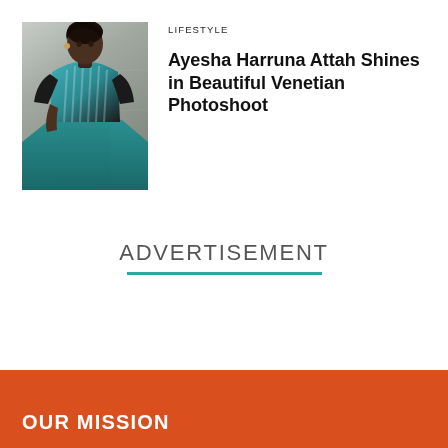[Figure (photo): Woman in teal patterned top and skirt standing outdoors against a light wall]
LIFESTYLE
Ayesha Harruna Attah Shines in Beautiful Venetian Photoshoot
ADVERTISEMENT
OUR MISSION